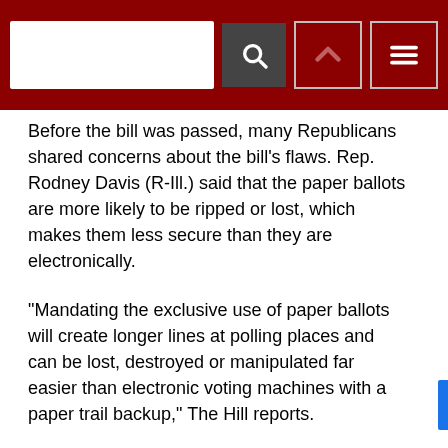[Search bar and navigation buttons on dark red header]
Before the bill was passed, many Republicans shared concerns about the bill’s flaws. Rep. Rodney Davis (R-Ill.) said that the paper ballots are more likely to be ripped or lost, which makes them less secure than they are electronically.
“Mandating the exclusive use of paper ballots will create longer lines at polling places and can be lost, destroyed or manipulated far easier than electronic voting machines with a paper trail backup,” The Hill reports.
The bill now awaits a vote in the Senate.
This is the first in a series of bills Democrats plan to